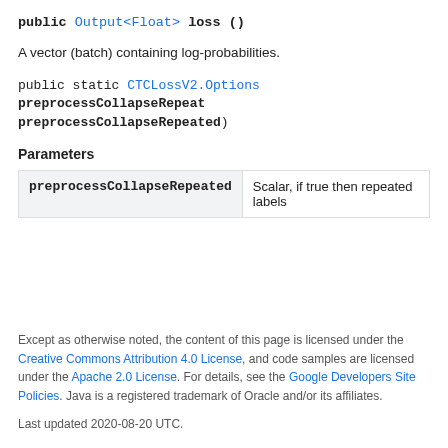public Output<Float> loss ()
A vector (batch) containing log-probabilities.
public static CTCLossV2.Options preprocessCollapseRepeated (boolean preprocessCollapseRepeated)
Parameters
| preprocessCollapseRepeated | Scalar, if true then repeated labels |
| --- | --- |
Except as otherwise noted, the content of this page is licensed under the Creative Commons Attribution 4.0 License, and code samples are licensed under the Apache 2.0 License. For details, see the Google Developers Site Policies. Java is a registered trademark of Oracle and/or its affiliates.
Last updated 2020-08-20 UTC.